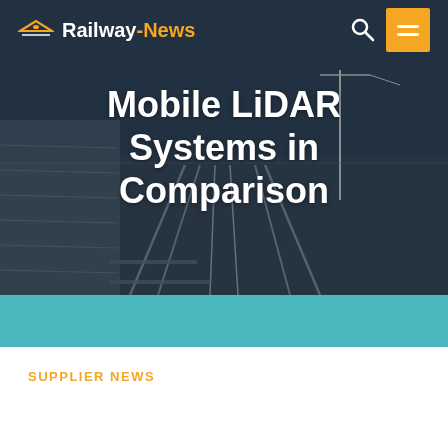Railway-News
[Figure (photo): Aerial/perspective view of railway tracks with overhead power lines, overlaid with a dark blue tint. Background image behind the hero title.]
Mobile LiDAR Systems in Comparison
SUPPLIER NEWS